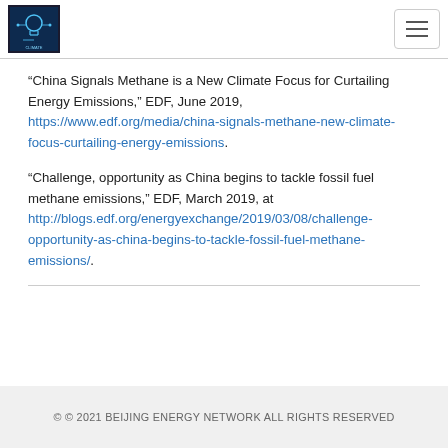[Figure (logo): Beijing Energy Network logo — dark blue square with light bulb and circuit/network graphic]
“China Signals Methane is a New Climate Focus for Curtailing Energy Emissions,” EDF, June 2019, https://www.edf.org/media/china-signals-methane-new-climate-focus-curtailing-energy-emissions.
“Challenge, opportunity as China begins to tackle fossil fuel methane emissions,” EDF, March 2019, at http://blogs.edf.org/energyexchange/2019/03/08/challenge-opportunity-as-china-begins-to-tackle-fossil-fuel-methane-emissions/.
© © 2021 BEIJING ENERGY NETWORK ALL RIGHTS RESERVED